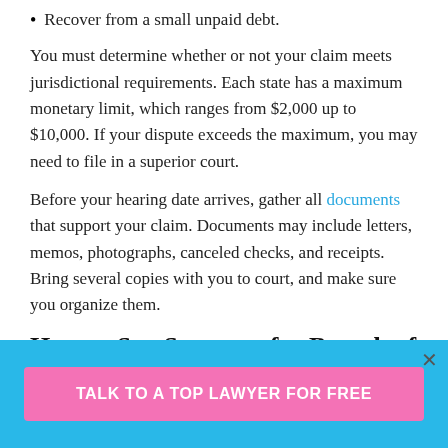Recover from a small unpaid debt.
You must determine whether or not your claim meets jurisdictional requirements. Each state has a maximum monetary limit, which ranges from $2,000 up to $10,000. If your dispute exceeds the maximum, you may need to file in a superior court.
Before your hearing date arrives, gather all documents that support your claim. Documents may include letters, memos, photographs, canceled checks, and receipts. Bring several copies with you to court, and make sure you organize them.
How to Sue Someone for Breach of Contract
TALK TO A TOP LAWYER FOR FREE